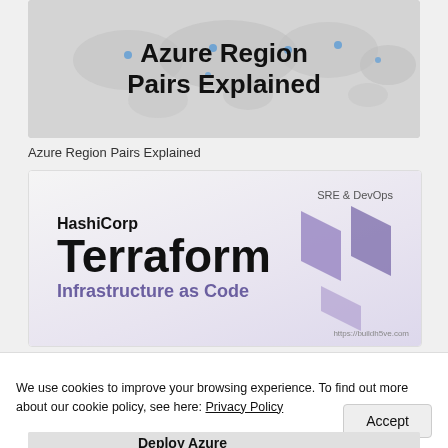[Figure (screenshot): Azure Region Pairs Explained article thumbnail with world map background and bold title text]
Azure Region Pairs Explained
[Figure (screenshot): HashiCorp Terraform Infrastructure as Code article thumbnail with purple diamond logo and SRE & DevOps label]
We use cookies to improve your browsing experience. To find out more about our cookie policy, see here: Privacy Policy
[Figure (screenshot): Partially visible Deploy Azure article thumbnail at bottom of page]